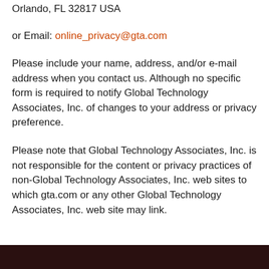Orlando, FL 32817 USA
or Email: online_privacy@gta.com
Please include your name, address, and/or e-mail address when you contact us. Although no specific form is required to notify Global Technology Associates, Inc. of changes to your address or privacy preference.
Please note that Global Technology Associates, Inc. is not responsible for the content or privacy practices of non-Global Technology Associates, Inc. web sites to which gta.com or any other Global Technology Associates, Inc. web site may link.